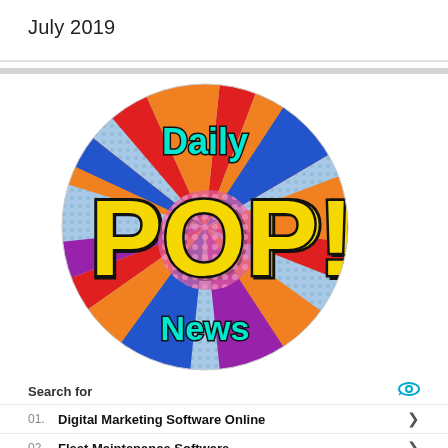July 2019
[Figure (logo): Daily POP! News circular logo with comic-book pop-art style. Colorful radial burst background in red, blue, orange, purple. Large yellow 'POP!' text with black outline in center. 'Daily' in cyan at top, 'News' in cyan at bottom.]
Search for
01.  Digital Marketing Software Online
02.  Fleet Maintenance Software
Yahoo! Search | Sponsored